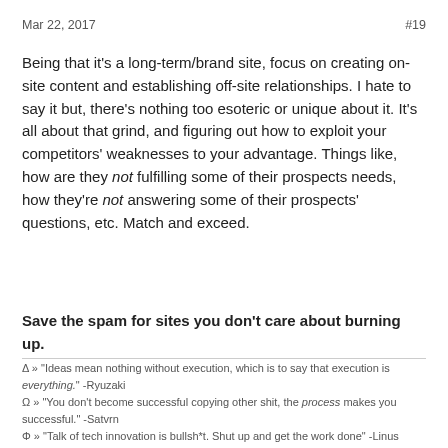Mar 22, 2017  #19
Being that it's a long-term/brand site, focus on creating on-site content and establishing off-site relationships. I hate to say it but, there's nothing too esoteric or unique about it. It's all about that grind, and figuring out how to exploit your competitors' weaknesses to your advantage. Things like, how are they not fulfilling some of their prospects needs, how they're not answering some of their prospects' questions, etc. Match and exceed.
Save the spam for sites you don't care about burning up.
Δ » "Ideas mean nothing without execution, which is to say that execution is everything." -Ryuzaki
Ω » "You don't become successful copying other shit, the process makes you successful." -Satvrn
Φ » "Talk of tech innovation is bullsh*t. Shut up and get the work done" -Linus Torvalds